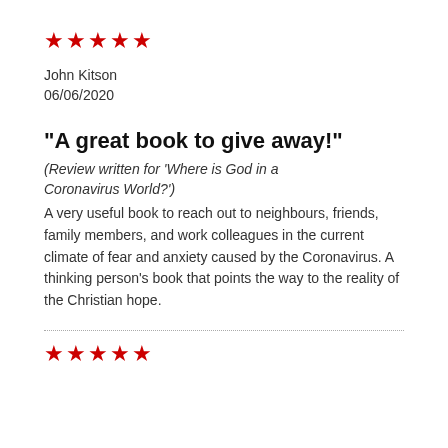★★★★★
John Kitson
06/06/2020
"A great book to give away!"
(Review written for 'Where is God in a Coronavirus World?')
A very useful book to reach out to neighbours, friends, family members, and work colleagues in the current climate of fear and anxiety caused by the Coronavirus. A thinking person's book that points the way to the reality of the Christian hope.
★★★★★